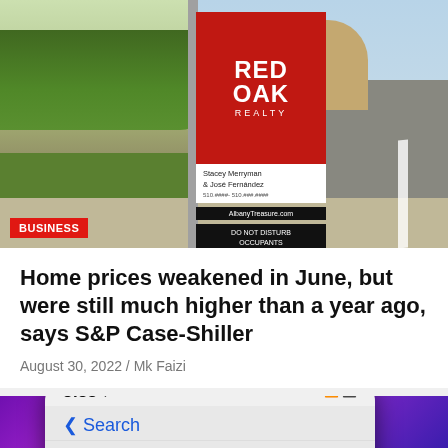[Figure (photo): Red Oak Realty real estate sign on a street corner with a cyclist in the background on a sunny day. A 'DO NOT DISTURB OCCUPANTS' sign is attached below the main sign.]
BUSINESS
Home prices weakened in June, but were still much higher than a year ago, says S&P Case-Shiller
August 30, 2022 / Mk Faizi
[Figure (photo): Close-up of a smartphone screen showing 3:35 time, with Truth Social app open showing a Search interface, on a purple/violet glowing background.]